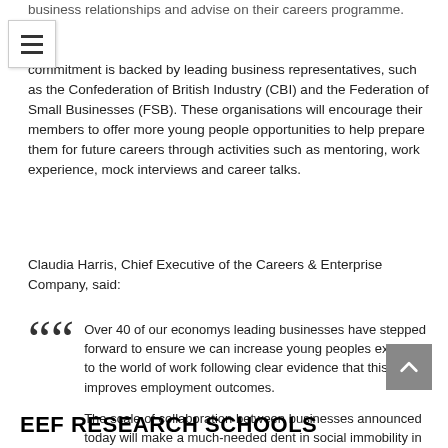business relationships and advise on their careers programme.
commitment is backed by leading business representatives, such as the Confederation of British Industry (CBI) and the Federation of Small Businesses (FSB). These organisations will encourage their members to offer more young people opportunities to help prepare them for future careers through activities such as mentoring, work experience, mock interviews and career talks.
Claudia Harris, Chief Executive of the Careers & Enterprise Company, said:
Over 40 of our economys leading businesses have stepped forward to ensure we can increase young peoples exposure to the world of work following clear evidence that this improves employment outcomes.

The scale of collaboration between businesses announced today will make a much-needed dent in social immobility in key areas and we are proud to be co-ordinating these efforts.
EEF RESEARCH SCHOOLS